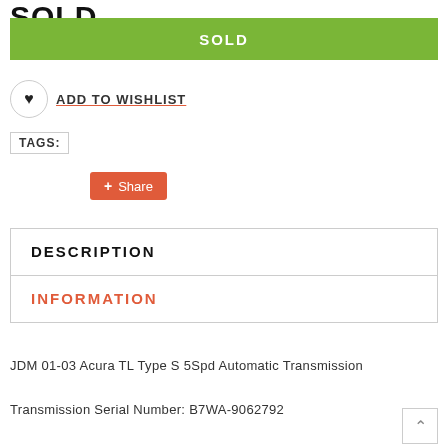SOLD
SOLD
ADD TO WISHLIST
TAGS:
Share
DESCRIPTION
INFORMATION
JDM 01-03 Acura TL Type S 5Spd Automatic Transmission
Transmission Serial Number: B7WA-9062792